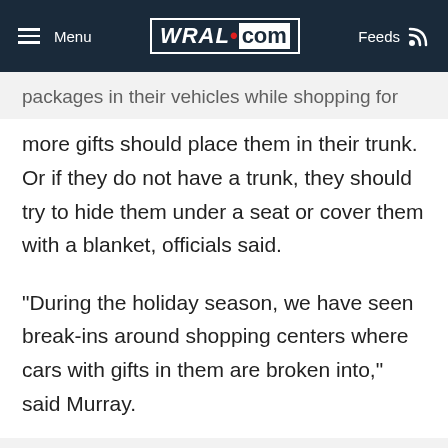Menu | WRAL.com | Feeds
packages in their vehicles while shopping for more gifts should place them in their trunk. Or if they do not have a trunk, they should try to hide them under a seat or cover them with a blanket, officials said.
"During the holiday season, we have seen break-ins around shopping centers where cars with gifts in them are broken into," said Murray.